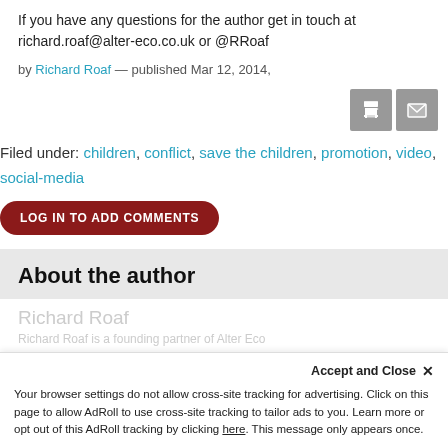If you have any questions for the author get in touch at richard.roaf@alter-eco.co.uk or @RRoaf
by Richard Roaf — published Mar 12, 2014,
[Figure (other): Print and email icon buttons (gray square buttons)]
Filed under: children, conflict, save the children, promotion, video, social-media
LOG IN TO ADD COMMENTS
About the author
Richard Roaf
Your browser settings do not allow cross-site tracking for advertising. Click on this page to allow AdRoll to use cross-site tracking to tailor ads to you. Learn more or opt out of this AdRoll tracking by clicking here. This message only appears once.